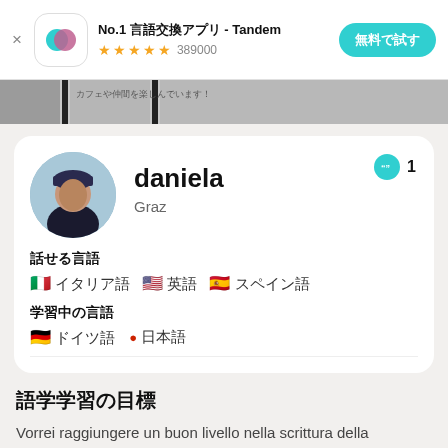[Figure (screenshot): Tandem app advertisement banner with app icon, 4.5 star rating, 389000 reviews, and a teal button reading 無料で試す]
No.1 言語交換アプリ - Tandem
★★★★☆ 389000
無料で試す
daniela
Graz
話せる言語
🇮🇹 イタリア語　🇺🇸 英語　🇪🇸 スペイン語
学習中の言語
🇩🇪 ドイツ語　🔴 日本語
語学学習の目標
Vorrei raggiungere un buon livello nella scrittura della